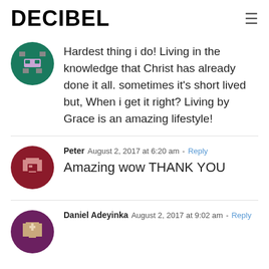DECIBEL
Hardest thing i do! Living in the knowledge that Christ has already done it all. sometimes it’s short lived but, When i get it right? Living by Grace is an amazing lifestyle!
Peter  August 2, 2017 at 6:20 am - Reply
Amazing wow THANK YOU
Daniel Adeyinka  August 2, 2017 at 9:02 am - Reply